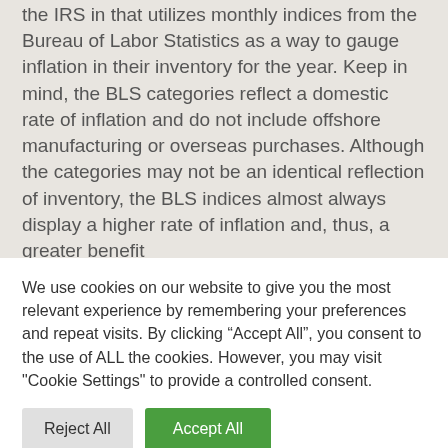the IRS in that utilizes monthly indices from the Bureau of Labor Statistics as a way to gauge inflation in their inventory for the year. Keep in mind, the BLS categories reflect a domestic rate of inflation and do not include offshore manufacturing or overseas purchases. Although the categories may not be an identical reflection of inventory, the BLS indices almost always display a higher rate of inflation and, thus, a greater benefit
We use cookies on our website to give you the most relevant experience by remembering your preferences and repeat visits. By clicking “Accept All”, you consent to the use of ALL the cookies. However, you may visit "Cookie Settings" to provide a controlled consent.
Reject All
Accept All